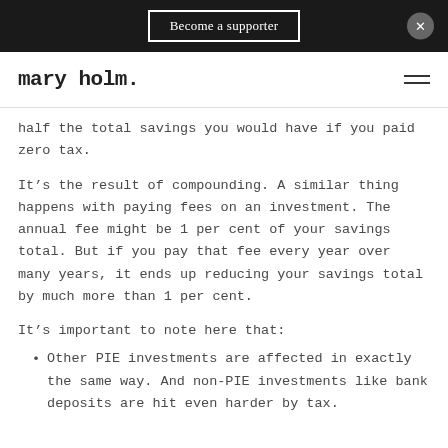Become a supporter
mary holm.
half the total savings you would have if you paid zero tax.
It’s the result of compounding. A similar thing happens with paying fees on an investment. The annual fee might be 1 per cent of your savings total. But if you pay that fee every year over many years, it ends up reducing your savings total by much more than 1 per cent.
It’s important to note here that:
Other PIE investments are affected in exactly the same way. And non-PIE investments like bank deposits are hit even harder by tax.